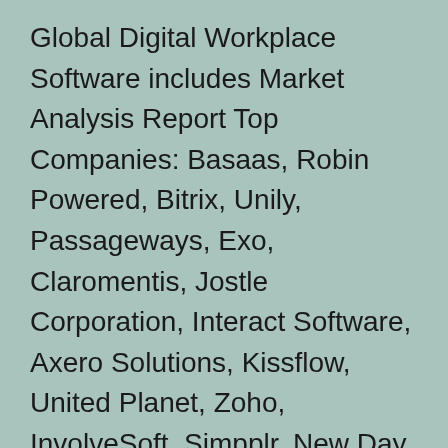Global Digital Workplace Software includes Market Analysis Report Top Companies: Basaas, Robin Powered, Bitrix, Unily, Passageways, Exo, Claromentis, Jostle Corporation, Interact Software, Axero Solutions, Kissflow, United Planet, Zoho, InvolveSoft, Simpplr, New Day at Work, Powell Software, Citrix (Sapho), Twine Intranet, Aurea (Jive), Akumina, BMC Software, Invotra, have their own company profiles, growth phases, and market development opportunities. This report provides the latest industry details related to industry events, import/export